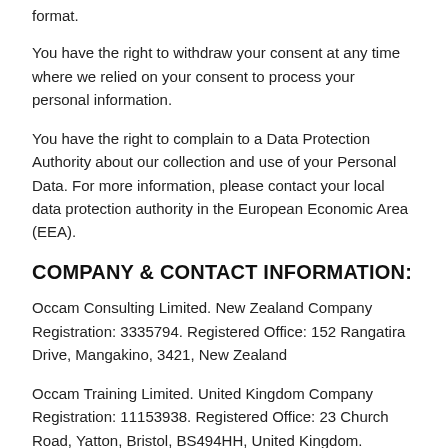format.
You have the right to withdraw your consent at any time where we relied on your consent to process your personal information.
You have the right to complain to a Data Protection Authority about our collection and use of your Personal Data. For more information, please contact your local data protection authority in the European Economic Area (EEA).
COMPANY & CONTACT INFORMATION:
Occam Consulting Limited. New Zealand Company Registration: 3335794. Registered Office: 152 Rangatira Drive, Mangakino, 3421, New Zealand
Occam Training Limited. United Kingdom Company Registration: 11153938. Registered Office: 23 Church Road, Yatton, Bristol, BS494HH, United Kingdom.
Email: tony@occam.asia Tel: (UK) 07 858 555004.